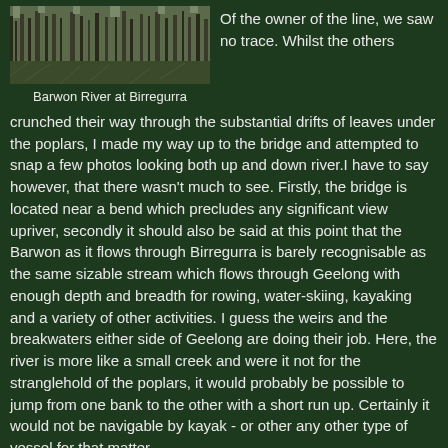[Figure (photo): Photo of Barwon River at Birregurra showing trees and riverbank vegetation]
Barwon River at Birregurra
Of the owner of the line, we saw no trace. Whilst the others crunched their way through the substantial drifts of leaves under the poplars, I made my way up to the bridge and attempted to snap a few photos looking both up and down river.I have to say however, that there wasn't much to see. Firstly, the bridge is located near a bend which precludes any significant view upriver, secondly it should also be said at this point that the Barwon as it flows through Birregurra is barely recognisable as the same sizable stream which flows through Geelong with enough depth and breadth for rowing, water-skiing, kayaking and a variety of other activities. I guess the weirs and the breakwaters either side of Geelong are doing their job. Here, the river is more like a small creek and were it not for the stranglehold of the poplars, it would probably be possible to jump from one bank to the other with a short run up. Certainly it would not be navigable by kayak - or other any other type of vessel for that matter.
And so we continued on our pilgrimage. From Birregurra we